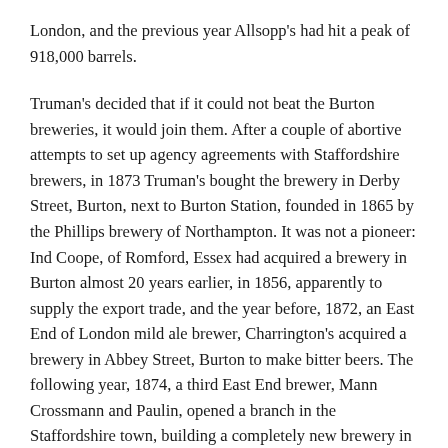London, and the previous year Allsopp's had hit a peak of 918,000 barrels.
Truman's decided that if it could not beat the Burton breweries, it would join them. After a couple of abortive attempts to set up agency agreements with Staffordshire brewers, in 1873 Truman's bought the brewery in Derby Street, Burton, next to Burton Station, founded in 1865 by the Phillips brewery of Northampton. It was not a pioneer: Ind Coope, of Romford, Essex had acquired a brewery in Burton almost 20 years earlier, in 1856, apparently to supply the export trade, and the year before, 1872, an East End of London mild ale brewer, Charrington's acquired a brewery in Abbey Street, Burton to make bitter beers. The following year, 1874, a third East End brewer, Mann Crossmann and Paulin, opened a branch in the Staffordshire town, building a completely new brewery in Clerkenwell Street, Burton (now owned by Marston's).